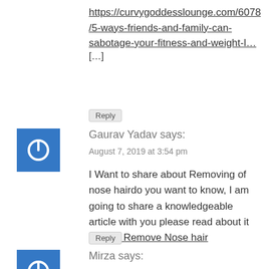https://curvygoddesslounge.com/6078/5-ways-friends-and-family-can-sabotage-your-fitness-and-weight-l&#8230; […]
Reply
[Figure (logo): Blue square avatar with white power button icon]
Gaurav Yadav says:
August 7, 2019 at 3:54 pm
I Want to share about Removing of nose hairdo you want to know, I am going to share a knowledgeable article with you please read about it How to Remove Nose hair
Reply
[Figure (logo): Blue square avatar with white power button icon]
Mirza says:
August 7, 2019 at 3:56 pm